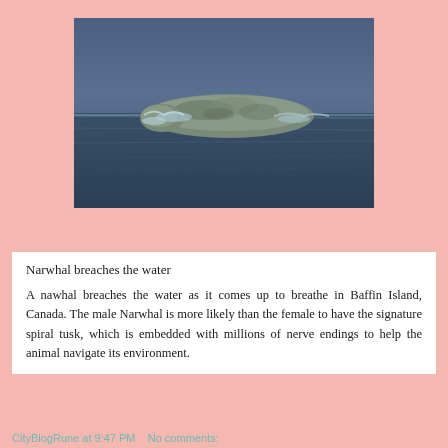[Figure (photo): A narwhal breaching the water surface in dark blue arctic waters, showing its mottled grey back and head above the rippling water.]
Narwhal breaches the water
A nawhal breaches the water as it comes up to breathe in Baffin Island, Canada. The male Narwhal is more likely than the female to have the signature spiral tusk, which is embedded with millions of nerve endings to help the animal navigate its environment.
CityBlogRune at 9:47 PM   No comments: